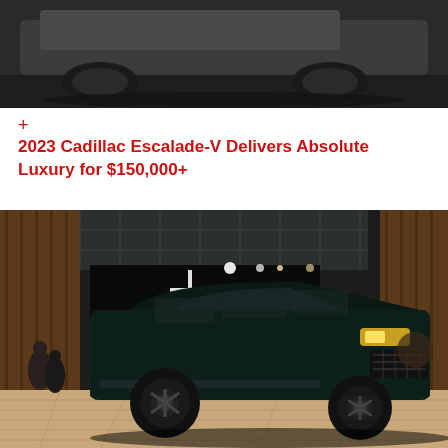[Figure (photo): Top portion of a dark-colored luxury SUV (Cadillac Escalade-V) on a dark floor, cropped showing only the lower body and wheels]
+
2023 Cadillac Escalade-V Delivers Absolute Luxury for $150,000+
[Figure (photo): Dark green/black Lincoln Navigator SUV displayed on a show floor at an auto show, with the Lincoln logo banner behind it. The vehicle is shown from a front three-quarter angle in a large exhibition hall with wooden floors and glass ceiling.]